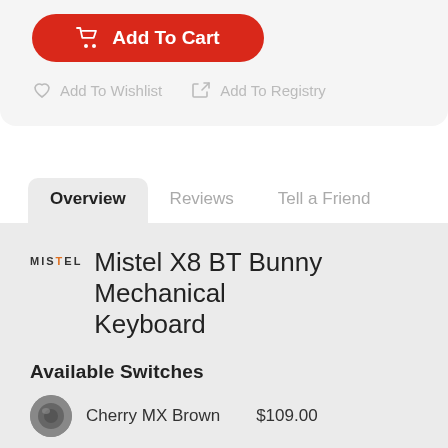[Figure (other): Red Add To Cart button with shopping cart icon]
Add To Wishlist   Add To Registry
Overview   Reviews   Tell a Friend
Mistel X8 BT Bunny Mechanical Keyboard
Available Switches
Cherry MX Brown   $109.00